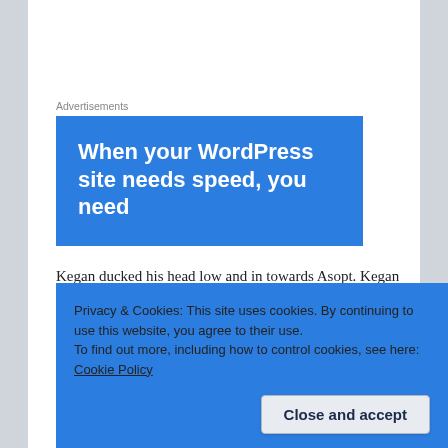Advertisements
[Figure (screenshot): Blue advertisement banner with white bold text: 'When your WordPress site needs speed, you need' (text cut off at bottom)]
Kegan ducked his head low and in towards Asopt. Kegan said, “She didn’t want me to tell you this, but-”.
“Sariah’s back?” Asopt whispered.
Kegan stopped and looked Asopt in the eye. “Is that after this.”
Privacy & Cookies: This site uses cookies. By continuing to use this website, you agree to their use.
To find out more, including how to control cookies, see here: Cookie Policy
Close and accept